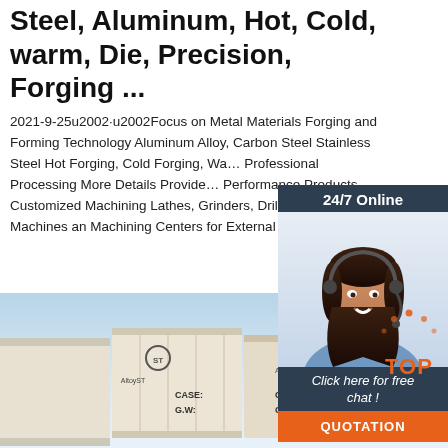Steel, Aluminum, Hot, Cold, warm, Die, Precision, Forging ...
2021-9-25u2002·u2002Focus on Metal Materials Forging and Forming Technology Aluminum Alloy, Carbon Steel Stainless Steel Hot Forging, Cold Forging, Warm Forging Professional Processing More Details Provide High Performance Products Customized Machining Lathes, Grinders, Drillers, Milling Machines and Machining Centers for External Processing Mo
[Figure (screenshot): 24/7 Online chat widget with a customer service agent photo, 'Click here for free chat!' text, and an orange QUOTATION button on dark navy background]
Get Price
[Figure (photo): Shipping containers with 'CASE: G.W:' labels and a company logo, stacked outdoors against a blue sky. Orange TOP badge visible in bottom right.]